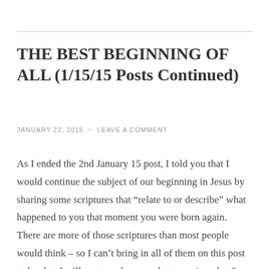THE BEST BEGINNING OF ALL (1/15/15 Posts Continued)
JANUARY 22, 2015  ~  LEAVE A COMMENT
As I ended the 2nd January 15 post, I told you that I would continue the subject of our beginning in Jesus by sharing some scriptures that “relate to or describe” what happened to you that moment you were born again.  There are more of those scriptures than most people would think – so I can’t bring in all of them on this post today, but I will try to make a good start on it – okay?